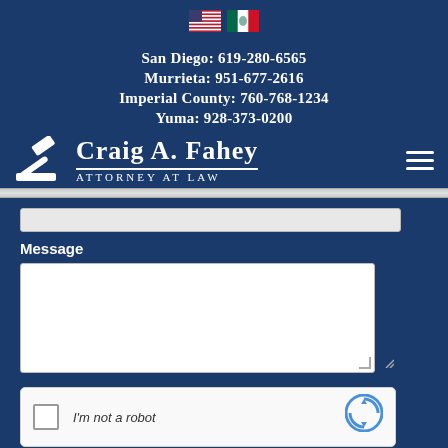[Figure (illustration): US flag and Mexico flag emoji icons side by side]
San Diego: 619-280-6565
Murrieta: 951-677-2616
Imperial County: 760-768-1234
Yuma: 928-373-0200
[Figure (logo): Craig A. Fahey Attorney at Law logo with gavel icon and hamburger menu icon]
Message
[Figure (screenshot): reCAPTCHA widget with checkbox and 'I'm not a robot' text]